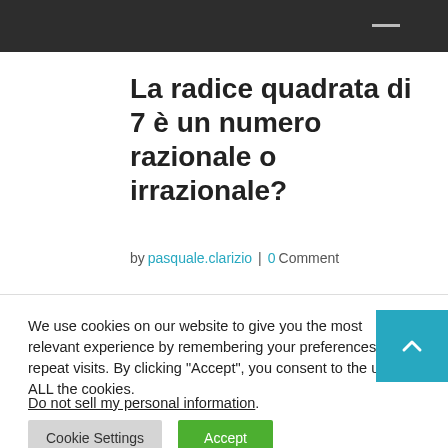La radice quadrata di 7 è un numero razionale o irrazionale?
by pasquale.clarizio | 0 Comment
We use cookies on our website to give you the most relevant experience by remembering your preferences and repeat visits. By clicking "Accept", you consent to the use of ALL the cookies.
Do not sell my personal information.